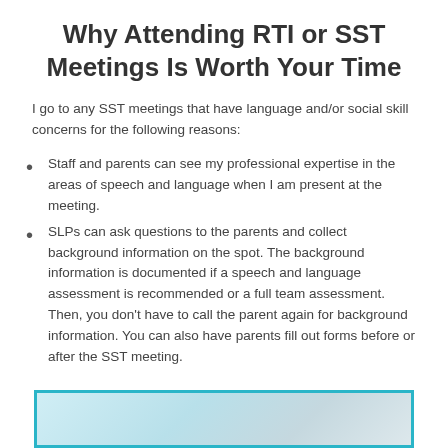Why Attending RTI or SST Meetings Is Worth Your Time
I go to any SST meetings that have language and/or social skill concerns for the following reasons:
Staff and parents can see my professional expertise in the areas of speech and language when I am present at the meeting.
SLPs can ask questions to the parents and collect background information on the spot. The background information is documented if a speech and language assessment is recommended or a full team assessment. Then, you don't have to call the parent again for background information. You can also have parents fill out forms before or after the SST meeting.
[Figure (photo): Photograph of educational materials or meeting documents with teal/cyan border]